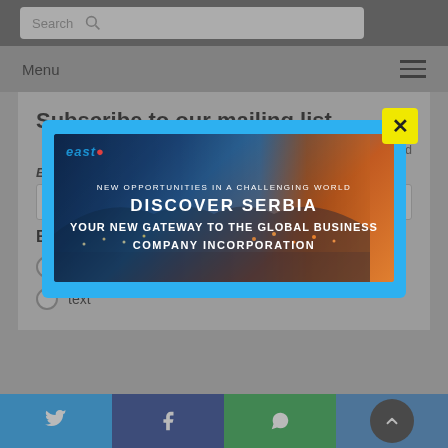Search
Menu
Subscribe to our mailing list
* indicates required
Email Address *
[Figure (screenshot): Advertisement modal popup: east logo, 'NEW OPPORTUNITIES IN A CHALLENGING WORLD', 'DISCOVER SERBIA', 'YOUR NEW GATEWAY TO THE GLOBAL BUSINESS', 'COMPANY INCORPORATION' on a city skyline background with a yellow X close button]
Email Format
html
text
Twitter | Facebook | WhatsApp | Scroll to top